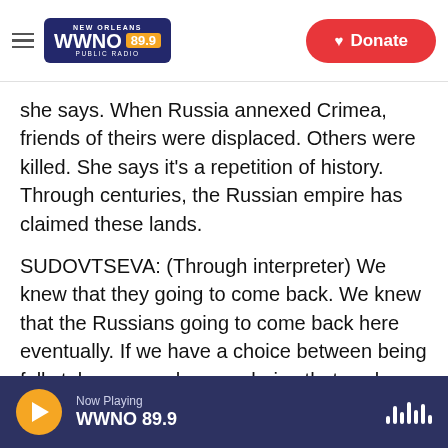NEW ORLEANS WWNO 89.9 PUBLIC RADIO
she says. When Russia annexed Crimea, friends of theirs were displaced. Others were killed. She says it's a repetition of history. Through centuries, the Russian empire has claimed these lands.
SUDOVTSEVA: (Through interpreter) We knew that they going to come back. We knew that the Russians going to come back here eventually. If we have a choice between being fully taken, or we have a choice that we know they are coming to destroy us, you simply can't be afraid forever. There is no preparation that can get you ready that a bomb goes into your house. But you simply can't be
Now Playing WWNO 89.9